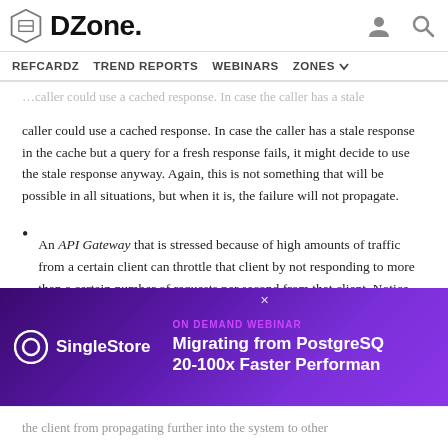DZone — REFCARDZ  TREND REPORTS  WEBINARS  ZONES
caller could use a cached response. In case the caller has a stale response in the cache but a query for a fresh response fails, it might decide to use the stale response anyway. Again, this is not something that will be possible in all situations, but when it is, the failure will not propagate.
An API Gateway that is stressed because of high amounts of traffic from a certain client can throttle that client by not responding to more than a certain number of requests per second from that client. Notice that the client may be sending an unusually high amount of requests because it is somehow failing internally. When throttled, the client will get a degraded experience, but will still get some
[Figure (screenshot): SingleStore ON DEMAND WEBINAR advertisement banner: Migrating from PostgreSQ... 20-100x Faster Performan...]
the client from propagating further into the system to other